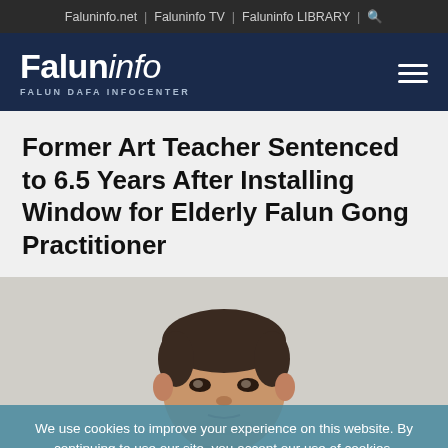Faluninfo.net | Faluninfo TV | Faluninfo LIBRARY | 🔍
[Figure (logo): Faluninfo - Falun Dafa Infocenter logo on dark navy background with hamburger menu icon]
Former Art Teacher Sentenced to 6.5 Years After Installing Window for Elderly Falun Gong Practitioner
[Figure (photo): Photo of a middle-aged Asian man, wearing a light green checkered shirt, looking downward slightly, against a light background]
We use cookies to improve your experience on this website. By continuing to use our site, you accept our use of cookies.
Accept   Privacy policy